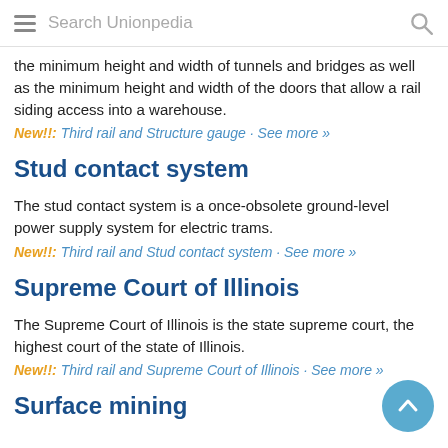Search Unionpedia
the minimum height and width of tunnels and bridges as well as the minimum height and width of the doors that allow a rail siding access into a warehouse.
New!!: Third rail and Structure gauge · See more »
Stud contact system
The stud contact system is a once-obsolete ground-level power supply system for electric trams.
New!!: Third rail and Stud contact system · See more »
Supreme Court of Illinois
The Supreme Court of Illinois is the state supreme court, the highest court of the state of Illinois.
New!!: Third rail and Supreme Court of Illinois · See more »
Surface mining